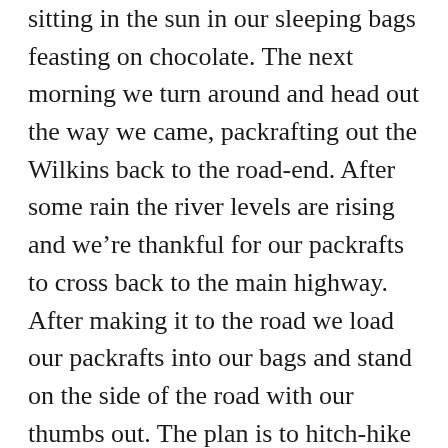sitting in the sun in our sleeping bags feasting on chocolate. The next morning we turn around and head out the way we came, packrafting out the Wilkins back to the road-end. After some rain the river levels are rising and we're thankful for our packrafts to cross back to the main highway. After making it to the road we load our packrafts into our bags and stand on the side of the road with our thumbs out. The plan is to hitch-hike to Haast and continue our trip down the coast into Fiordland from there. I turn on my Inreach and there's a message from Jake: “Resupply bucket is at SW end of bridge, under the metal placard commemorating the year the bridge